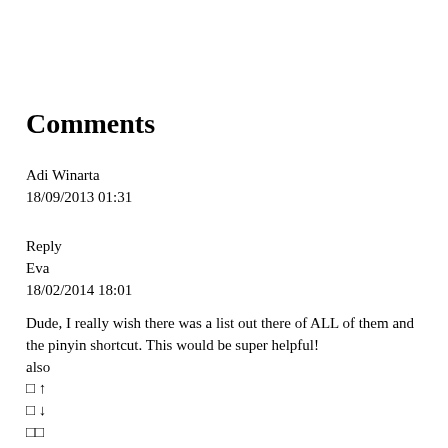Comments
Adi Winarta
18/09/2013 01:31
Reply
Eva
18/02/2014 18:01
Dude, I really wish there was a list out there of ALL of them and the pinyin shortcut. This would be super helpful!
also
↑ ↑
↓ ↓
升降
升降升
升降升